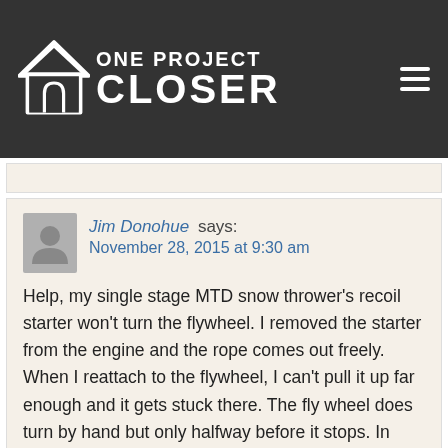[Figure (logo): One Project Closer website logo with house icon and site name in white text on dark background, with hamburger menu icon]
Jim Donohue says:
November 28, 2015 at 9:30 am

Help, my single stage MTD snow thrower’s recoil starter won’t turn the flywheel. I removed the starter from the engine and the rope comes out freely. When I reattach to the flywheel, I can’t pull it up far enough and it gets stuck there. The fly wheel does turn by hand but only halfway before it stops. In other words it is not turning and returning to original position.